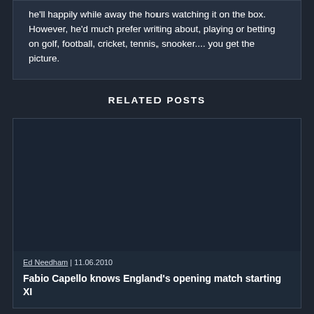he'll happily while away the hours watching it on the box. However, he'd much prefer writing about, playing or betting on golf, football, cricket, tennis, snooker.... you get the picture.
RELATED POSTS
[Figure (photo): Dark placeholder image for a related post card]
Ed Needham | 11.06.2010
Fabio Capello knows England's opening match starting XI